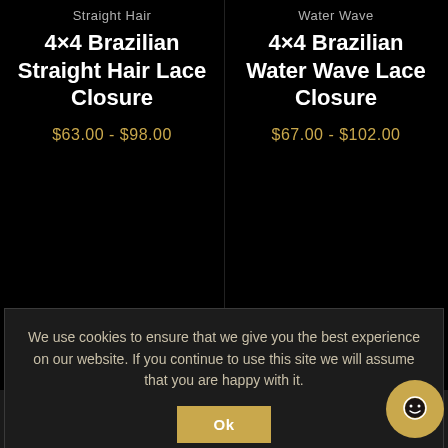Straight Hair
4×4 Brazilian Straight Hair Lace Closure
$63.00 - $98.00
Water Wave
4×4 Brazilian Water Wave Lace Closure
$67.00 - $102.00
[Figure (logo): Brand logo — white stylized hair/flame shape on dark background]
We use cookies to ensure that we give you the best experience on our website. If you continue to use this site we will assume that you are happy with it.
Ok
[Figure (other): Gold circular chat support button with smiley face icon]